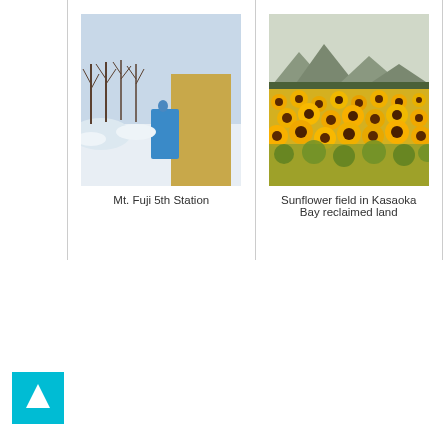[Figure (photo): Winter snow scene with a yellow/brown wall structure and bare trees, Mt. Fuji 5th Station]
Mt. Fuji 5th Station
[Figure (photo): Sunflower field in Kasaoka Bay reclaimed land with mountains in background]
Sunflower field in Kasaoka Bay reclaimed land
[Figure (other): Teal/cyan square button with a white upward arrow icon]